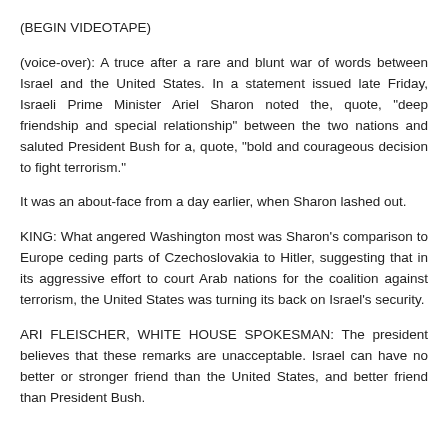(BEGIN VIDEOTAPE)
(voice-over): A truce after a rare and blunt war of words between Israel and the United States. In a statement issued late Friday, Israeli Prime Minister Ariel Sharon noted the, quote, "deep friendship and special relationship" between the two nations and saluted President Bush for a, quote, "bold and courageous decision to fight terrorism."
It was an about-face from a day earlier, when Sharon lashed out.
KING: What angered Washington most was Sharon's comparison to Europe ceding parts of Czechoslovakia to Hitler, suggesting that in its aggressive effort to court Arab nations for the coalition against terrorism, the United States was turning its back on Israel's security.
ARI FLEISCHER, WHITE HOUSE SPOKESMAN: The president believes that these remarks are unacceptable. Israel can have no better or stronger friend than the United States, and better friend than President Bush.